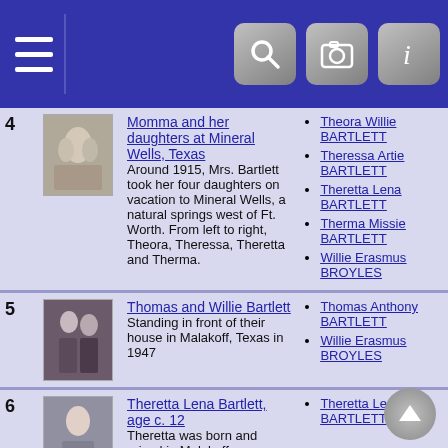[Figure (screenshot): Navigation bar with hamburger menu, search icon, camera icon, and info icon on dark blue background]
| # | Thumbnail | Description | People |
| --- | --- | --- | --- |
| 4 | [photo] | Momma and her daughters at Mineral Wells, Texas
Around 1915, Mrs. Bartlett took her four daughters on vacation to Mineral Wells, a natural springs west of Ft. Worth. From left to right, Theora, Theressa, Theretta and Therma. | Theora Willie BARTLETT
Theressa Artie BARTLETT
Theretta Lena BARTLETT
Therma Missie BARTLETT
Willie Erasmus BROYLES |
| 5 | [photo] | Thomas and Willie Bartlett
Standing in front of their house in Malakoff, Texas in 1947 | Thomas Anthony BARTLETT
Willie Erasmus BROYLES |
| 6 | [photo] | Theretta Lena Bartlett, age c. 12
Theretta was born and raised in Malakoff, ... | Theretta Lena BARTLETT |